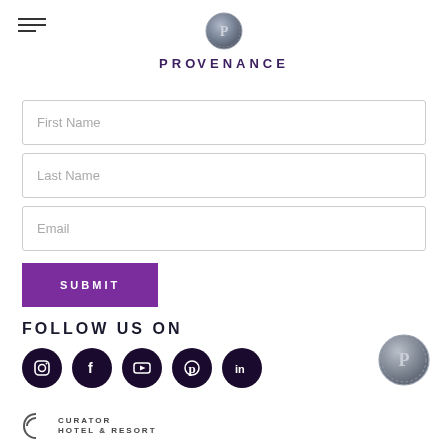[Figure (logo): Provenance Hotels logo with silver wax seal coin and PROVENANCE text in purple]
First Name
Last Name
Email
SUBMIT
FOLLOW US ON
[Figure (illustration): Social media icons: Instagram, Facebook, YouTube, Pinterest, LinkedIn in dark purple circles]
[Figure (logo): Curator Hotel & Resort Collection logo]
[Figure (logo): Provenance silver wax seal bottom right]